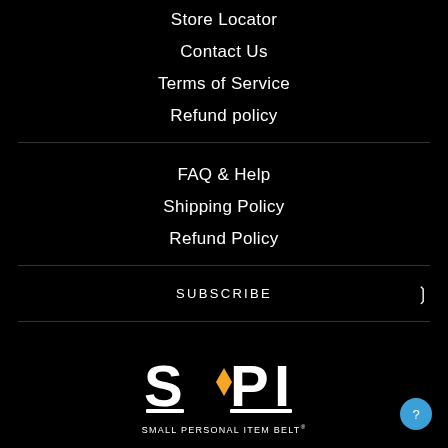Store Locator
Contact Us
Terms of Service
Refund policy
FAQ & Help
Shipping Policy
Refund Policy
SUBSCRIBE
[Figure (logo): SPI - Small Personal Item Belt logo with orange diamond accent on white lettering]
SMALL PERSONAL ITEM BELT®